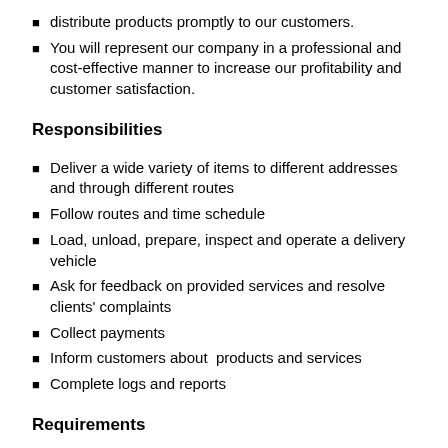distribute products promptly to our customers.
You will represent our company in a professional and cost-effective manner to increase our profitability and customer satisfaction.
Responsibilities
Deliver a wide variety of items to different addresses and through different routes
Follow routes and time schedule
Load, unload, prepare, inspect and operate a delivery vehicle
Ask for feedback on provided services and resolve clients' complaints
Collect payments
Inform customers about  products and services
Complete logs and reports
Requirements